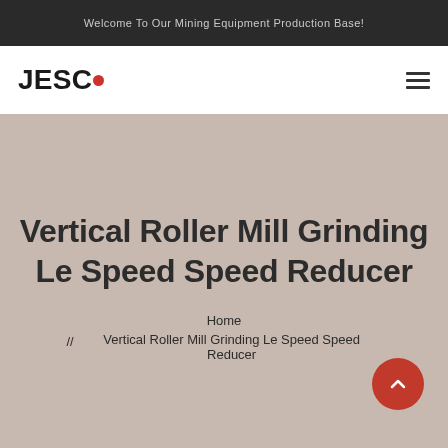Welcome To Our Mining Equipment Production Base!
[Figure (logo): JESCO logo with red dot after JESC]
Vertical Roller Mill Grinding Le Speed Speed Reducer
Home
// Vertical Roller Mill Grinding Le Speed Speed Reducer